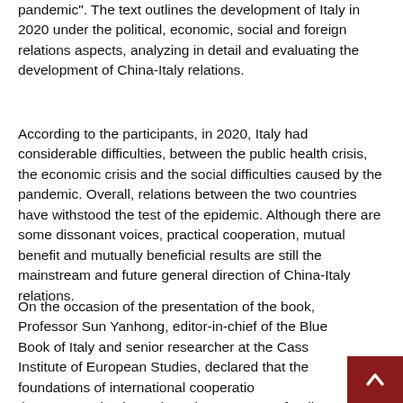pandemic". The text outlines the development of Italy in 2020 under the political, economic, social and foreign relations aspects, analyzing in detail and evaluating the development of China-Italy relations.
According to the participants, in 2020, Italy had considerable difficulties, between the public health crisis, the economic crisis and the social difficulties caused by the pandemic. Overall, relations between the two countries have withstood the test of the epidemic. Although there are some dissonant voices, practical cooperation, mutual benefit and mutually beneficial results are still the mainstream and future general direction of China-Italy relations.
On the occasion of the presentation of the book, Professor Sun Yanhong, editor-in-chief of the Blue Book of Italy and senior researcher at the Cass Institute of European Studies, declared that the foundations of international cooperation the post-pandemic era have become more fragile.